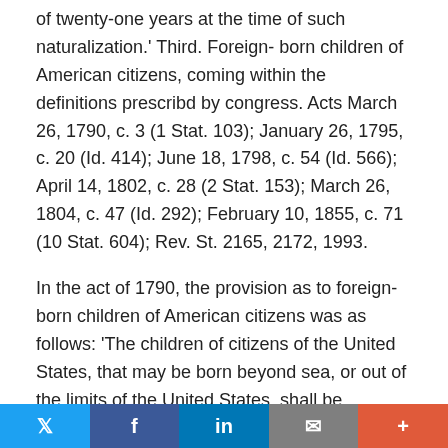of twenty-one years at the time of such naturalization.' Third. Foreign-born children of American citizens, coming within the definitions prescribd by congress. Acts March 26, 1790, c. 3 (1 Stat. 103); January 26, 1795, c. 20 (Id. 414); June 18, 1798, c. 54 (Id. 566); April 14, 1802, c. 28 (2 Stat. 153); March 26, 1804, c. 47 (Id. 292); February 10, 1855, c. 71 (10 Stat. 604); Rev. St. 2165, 2172, 1993.
In the act of 1790, the provision as to foreign-born children of American citizens was as follows: 'The children of citizens of the United States, that may be born beyond sea, or out of the limits of the United States, shall be considered as natural-born citizens: provided, that the right of citizenship shall not descend to persons whose fathers have never been [169 U.S. 649, 673] resident in the United States.' 1 Stat. 104. In 1795, this was re-enacted, in the same words, except in substituting, for the words 'beyond sea, or out of
Twitter | Facebook | LinkedIn | Email | +